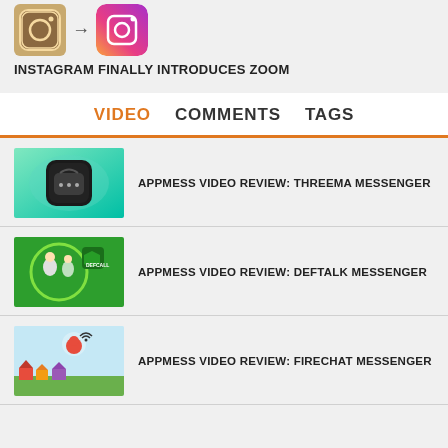[Figure (illustration): Two Instagram logos: old camera icon with arrow pointing to new Instagram gradient icon]
INSTAGRAM FINALLY INTRODUCES ZOOM
VIDEO  COMMENTS  TAGS
[Figure (screenshot): Green background with lock/chat app icon - Threema Messenger thumbnail]
APPMESS VIDEO REVIEW: THREEMA MESSENGER
[Figure (screenshot): Green background with superhero characters and DefCall logo - Deftalk Messenger thumbnail]
APPMESS VIDEO REVIEW: DEFTALK MESSENGER
[Figure (screenshot): Light blue sky background with red bird character and town - FireChat Messenger thumbnail]
APPMESS VIDEO REVIEW: FIRECHAT MESSENGER